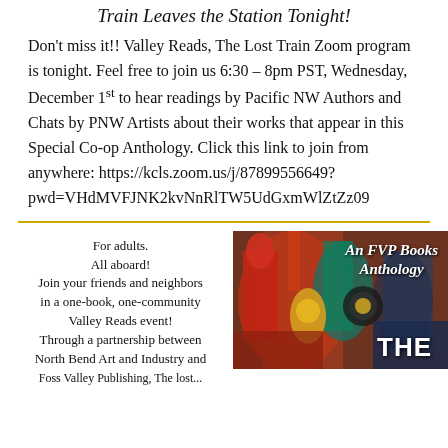Train Leaves the Station Tonight!
Don't miss it!! Valley Reads, The Lost Train Zoom program is tonight. Feel free to join us 6:30 – 8pm PST, Wednesday, December 1st to hear readings by Pacific NW Authors and Chats by PNW Artists about their works that appear in this Special Co-op Anthology. Click this link to join from anywhere: https://kcls.zoom.us/j/87899556649?pwd=VHdMVFJNK2kvNnRlTW5UdGxmWlZtZz09
For adults.
All aboard!
Join your friends and neighbors in a one-book, one-community Valley Reads event!
Through a partnership between North Bend Art and Industry and Foss Valley Publishing, The Lost...
[Figure (illustration): Book cover for 'An FVP Books Anthology — THE' showing colorful abstract painted art with figures in red, teal, yellow and blue tones. White text overlays read 'An FVP Books Anthology' and 'THE'.]